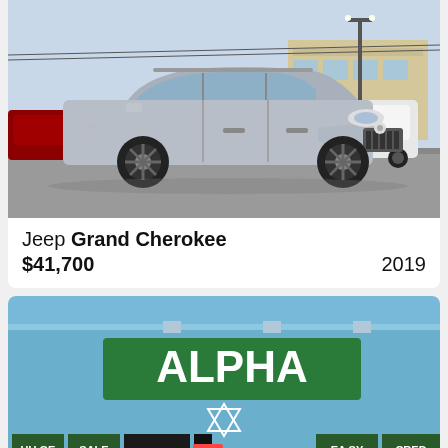[Figure (photo): Silver 2019 Jeep Grand Cherokee SUV photographed in a dealership parking lot, side/front view, dark alloy wheels, other vehicles visible in background.]
Jeep Grand Cherokee
$41,700   2019
[Figure (photo): Exterior photo of Alpha auto dealership storefront with blue facade, green sign reading ALPHA with white Star of David below, windows reading HUGE SALE EASY CRED and OPEN sign visible.]